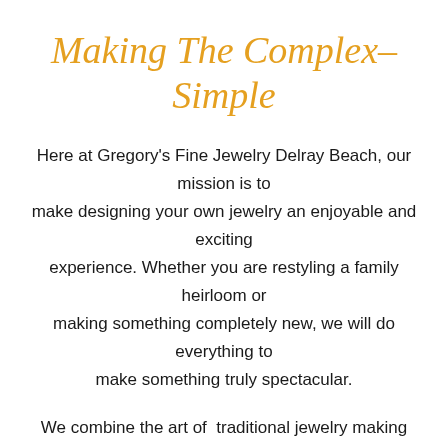Making The Complex– Simple
Here at Gregory's Fine Jewelry Delray Beach, our mission is to make designing your own jewelry an enjoyable and exciting experience. Whether you are restyling a family heirloom or making something completely new, we will do everything to make something truly spectacular.
We combine the art of traditional jewelry making with state of the art digital technology to create one of a kind pieces. We provide CAD renderings to help give you an idea of what your custom jewelry will look like before we cast and produce the